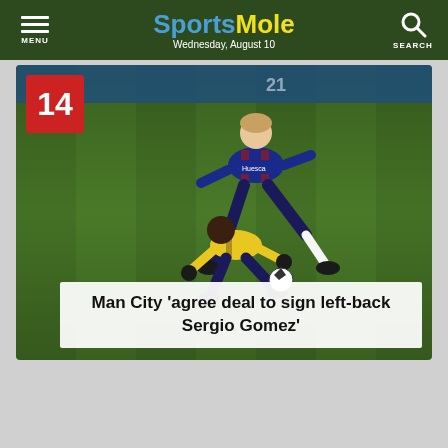SportsMole — Wednesday, August 10
[Figure (photo): Two football players in a tackle on a pitch. One player wears a blue and red Huesca strip, the other wears a yellow kit. A red badge with the number 14 appears in the top-left corner of the image.]
Man City 'agree deal to sign left-back Sergio Gomez'